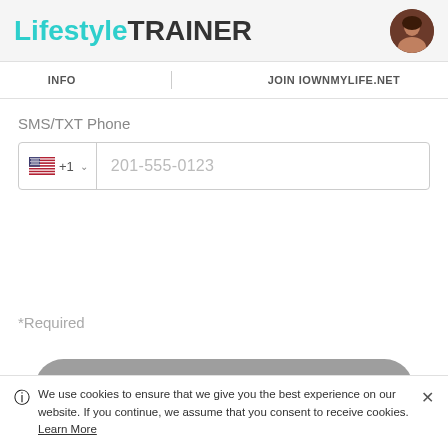LifestyleTRAINER
INFO | JOIN IOWNMYLIFE.NET
SMS/TXT Phone
🇺🇸 +1  201-555-0123
*Required
REQUEST INFORMATION
We use cookies to ensure that we give you the best experience on our website. If you continue, we assume that you consent to receive cookies. Learn More